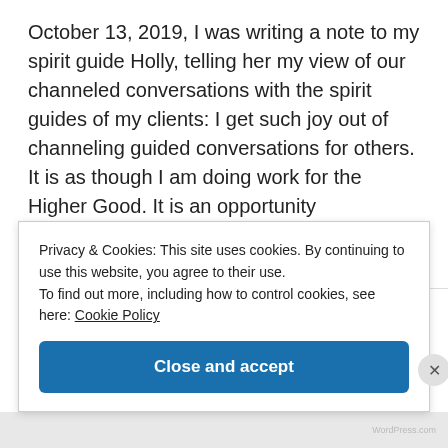October 13, 2019, I was writing a note to my spirit guide Holly, telling her my view of our channeled conversations with the spirit guides of my clients: I get such joy out of channeling guided conversations for others. It is as though I am doing work for the Higher Good. It is an opportunity
Continue reading →
Privacy & Cookies: This site uses cookies. By continuing to use this website, you agree to their use. To find out more, including how to control cookies, see here: Cookie Policy
Close and accept